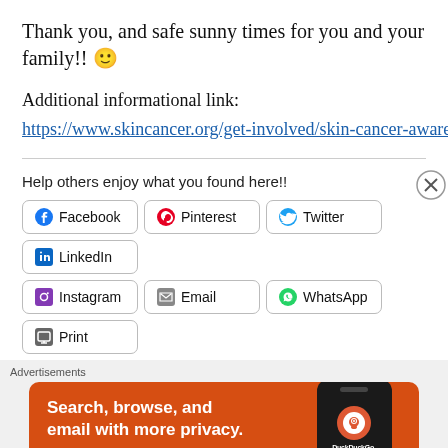Thank you, and safe sunny times for you and your family!! 🙂
Additional informational link:
https://www.skincancer.org/get-involved/skin-cancer-awareness-month
Help others enjoy what you found here!!
[Figure (screenshot): Social share buttons: Facebook, Pinterest, Twitter, LinkedIn, Instagram, Email, WhatsApp, Print]
[Figure (screenshot): DuckDuckGo advertisement banner: Search, browse, and email with more privacy. All in One Free App. Shows phone with DuckDuckGo logo.]